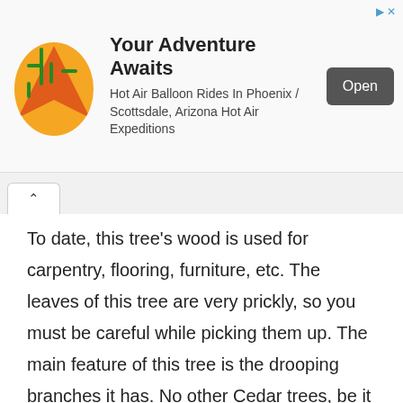[Figure (screenshot): Advertisement banner for hot air balloon rides. Shows a colorful cactus/balloon logo, title 'Your Adventure Awaits', subtitle 'Hot Air Balloon Rides In Phoenix / Scottsdale, Arizona Hot Air Expeditions', and an 'Open' button.]
To date, this tree's wood is used for carpentry, flooring, furniture, etc. The leaves of this tree are very prickly, so you must be careful while picking them up. The main feature of this tree is the drooping branches it has. No other Cedar trees, be it true or false, have these types of branches.
Identification
This wood is used as timber because of its